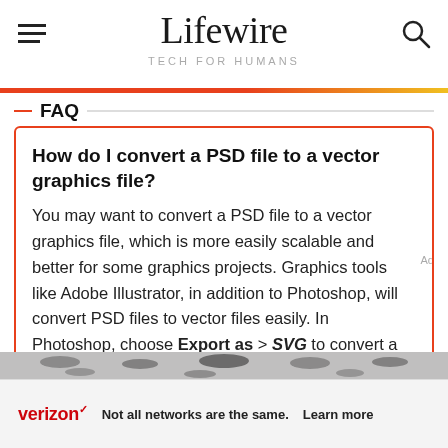Lifewire — TECH FOR HUMANS
FAQ
How do I convert a PSD file to a vector graphics file?
You may want to convert a PSD file to a vector graphics file, which is more easily scalable and better for some graphics projects. Graphics tools like Adobe Illustrator, in addition to Photoshop, will convert PSD files to vector files easily. In Photoshop, choose Export as > SVG to convert a file to SVG, which is a vector file format. In
[Figure (screenshot): Verizon advertisement banner: logo, text 'Not all networks are the same. Learn more']